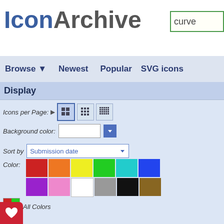[Figure (logo): IconArchive logo — 'Icon' in blue bold, 'Archive' in dark gray bold]
curve
Browse ▼   Newest   Popular   SVG icons
Display
Icons per Page: ▶ [grid icons]
Background color: [white swatch] [dropdown]
Sort by  Submission date ▼
Color: [red] [orange] [yellow] [green] [teal] [blue] [purple] [pink] [white] [gray] [black] [brown]
All Colors
Search Filters
Size: 16 x 16px ▼
Category: Game ▼
e: All ▼
Results 1-0 of 0 for search term '
Your search for »curve« did no
If you agree to remove the fi
Results 1-0 of 0 for search term '